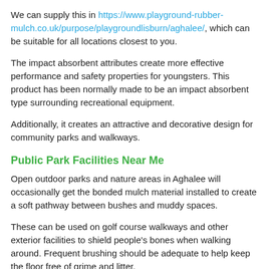We can supply this in https://www.playground-rubber-mulch.co.uk/purpose/playgroundlisburn/aghalee/, which can be suitable for all locations closest to you.
The impact absorbent attributes create more effective performance and safety properties for youngsters. This product has been normally made to be an impact absorbent type surrounding recreational equipment.
Additionally, it creates an attractive and decorative design for community parks and walkways.
Public Park Facilities Near Me
Open outdoor parks and nature areas in Aghalee will occasionally get the bonded mulch material installed to create a soft pathway between bushes and muddy spaces.
These can be used on golf course walkways and other exterior facilities to shield people's bones when walking around. Frequent brushing should be adequate to help keep the floor free of grime and litter.